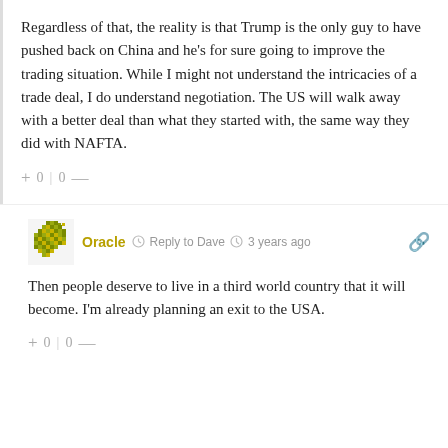Regardless of that, the reality is that Trump is the only guy to have pushed back on China and he's for sure going to improve the trading situation. While I might not understand the intricacies of a trade deal, I do understand negotiation. The US will walk away with a better deal than what they started with, the same way they did with NAFTA.
+ 0 | 0 —
Oracle  Reply to Dave  3 years ago
Then people deserve to live in a third world country that it will become. I'm already planning an exit to the USA.
+ 0 | 0 —